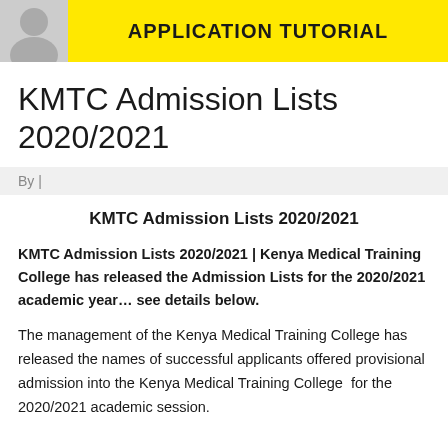[Figure (illustration): Banner with a person illustration on the left and yellow background with text APPLICATION TUTORIAL on the right]
KMTC Admission Lists 2020/2021
By |
KMTC Admission Lists 2020/2021
KMTC Admission Lists 2020/2021 | Kenya Medical Training College has released the Admission Lists for the 2020/2021 academic year… see details below.
The management of the Kenya Medical Training College has released the names of successful applicants offered provisional admission into the Kenya Medical Training College  for the 2020/2021 academic session.